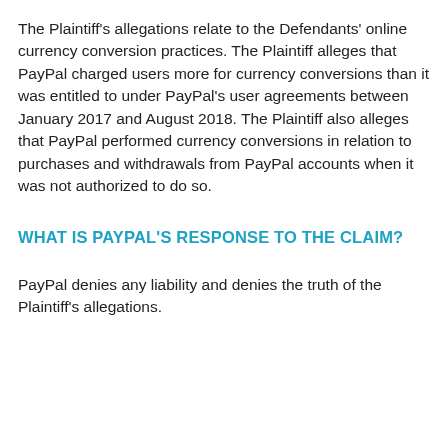The Plaintiff's allegations relate to the Defendants' online currency conversion practices. The Plaintiff alleges that PayPal charged users more for currency conversions than it was entitled to under PayPal's user agreements between January 2017 and August 2018. The Plaintiff also alleges that PayPal performed currency conversions in relation to purchases and withdrawals from PayPal accounts when it was not authorized to do so.
WHAT IS PAYPAL'S RESPONSE TO THE CLAIM?
PayPal denies any liability and denies the truth of the Plaintiff's allegations.